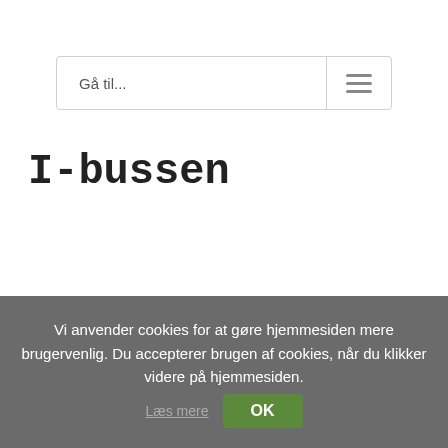Gå til...
I-bussen
Vi anvender cookies for at gøre hjemmesiden mere brugervenlig. Du accepterer brugen af cookies, når du klikker videre på hjemmesiden.